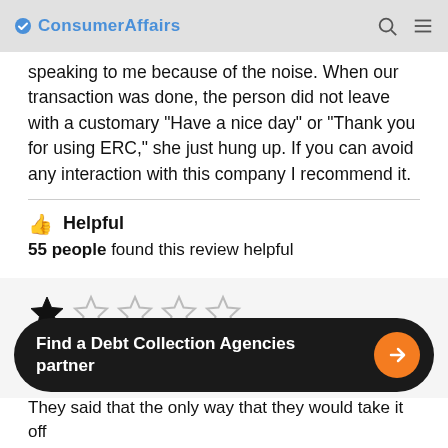ConsumerAffairs
speaking to me because of the noise. When our transaction was done, the person did not leave with a customary "Have a nice day" or "Thank you for using ERC," she just hung up. If you can avoid any interaction with this company I recommend it.
👍 Helpful
55 people found this review helpful
[Figure (other): 1 out of 5 stars rating (one filled star, four empty stars)]
EB of Sacramento, CA
Find a Debt Collection Agencies partner
They said that the only way that they would take it off